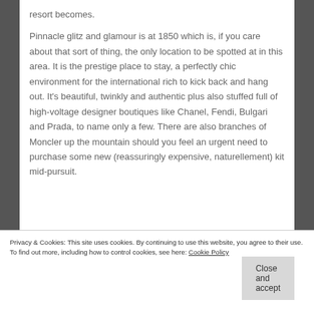resort becomes.
Pinnacle glitz and glamour is at 1850 which is, if you care about that sort of thing, the only location to be spotted at in this area. It is the prestige place to stay, a perfectly chic environment for the international rich to kick back and hang out. It’s beautiful, twinkly and authentic plus also stuffed full of high-voltage designer boutiques like Chanel, Fendi, Bulgari and Prada, to name only a few. There are also branches of Moncler up the mountain should you feel an urgent need to purchase some new (reassuringly expensive, naturellement) kit mid-pursuit.
Privacy & Cookies: This site uses cookies. By continuing to use this website, you agree to their use.
To find out more, including how to control cookies, see here: Cookie Policy
Close and accept